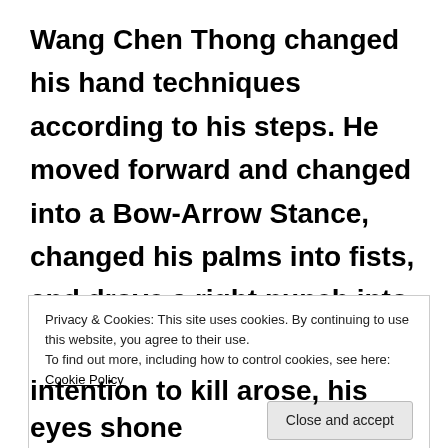Wang Chen Thong changed his hand techniques according to his steps. He moved forward and changed into a Bow-Arrow Stance, changed his palms into fists, and drove a right punch into the opponent's chest.
Privacy & Cookies: This site uses cookies. By continuing to use this website, you agree to their use.
To find out more, including how to control cookies, see here: Cookie Policy
Close and accept
intention to kill arose, his eyes shone